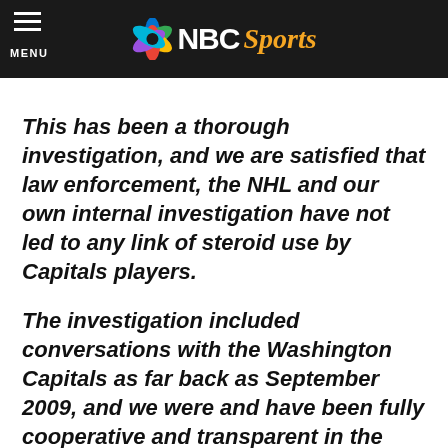NBC Sports
This has been a thorough investigation, and we are satisfied that law enforcement, the NHL and our own internal investigation have not led to any link of steroid use by Capitals players.
The investigation included conversations with the Washington Capitals as far back as September 2009, and we were and have been fully cooperative and transparent in the past as well as today.